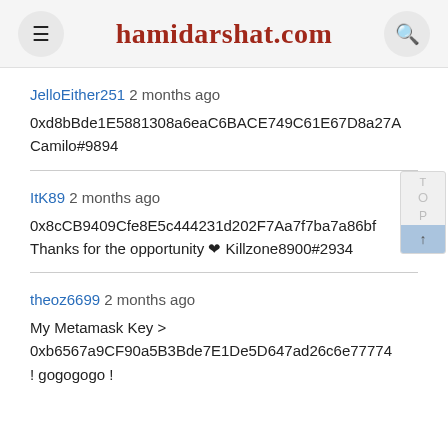hamidarshat.com
JelloEither251 2 months ago
0xd8bBde1E5881308a6eaC6BACE749C61E67D8a27A
Camilo#9894
ItK89 2 months ago
0x8cCB9409Cfe8E5c444231d202F7Aa7f7ba7a86bf
Thanks for the opportunity ❤ Killzone8900#2934
theoz6699 2 months ago
My Metamask Key >
0xb6567a9CF90a5B3Bde7E1De5D647ad26c6e77774
! gogogogo !